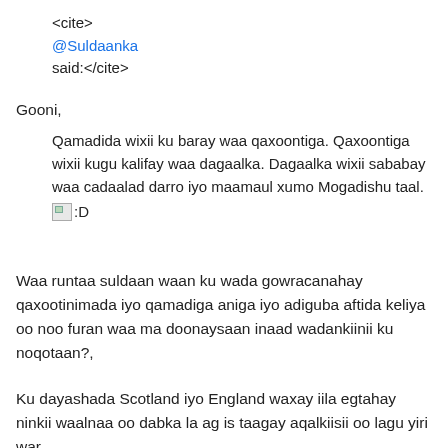<cite>
@Suldaanka
said:</cite>
Gooni,
Qamadida wixii ku baray waa qaxoontiga. Qaxoontiga wixii kugu kalifay waa dagaalka. Dagaalka wixii sababay waa cadaalad darro iyo maamaul xumo Mogadishu taal.
:D
Waa runtaa suldaan waan ku wada gowracanahay qaxootinimada iyo qamadiga aniga iyo adiguba aftida keliya oo noo furan waa ma doonaysaan inaad wadankiinii ku noqotaan?,
Ku dayashada Scotland iyo England waxay iila egtahay ninkii waalnaa oo dabka la ag is taagay aqalkiisii oo lagu yiri war